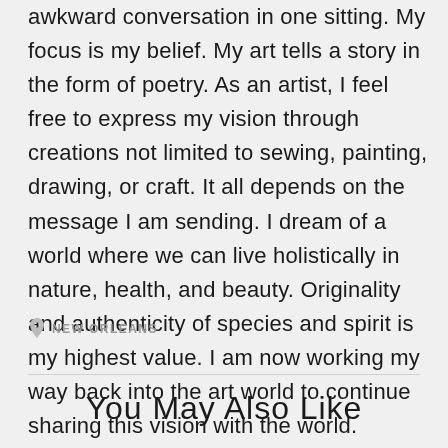awkward conversation in one sitting. My focus is my belief. My art tells a story in the form of poetry. As an artist, I feel free to express my vision through creations not limited to sewing, painting, drawing, or craft. It all depends on the message I am sending. I dream of a world where we can live holistically in nature, health, and beauty. Originality and authenticity of species and spirit is my highest value. I am now working my way back into the art world to continue sharing this vision with the world.
NEW ORLEANS
You May Also Like